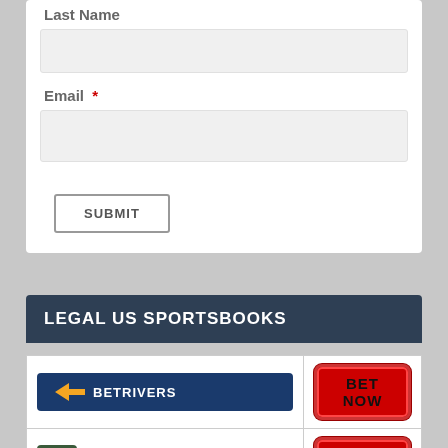Last Name
Email *
SUBMIT
LEGAL US SPORTSBOOKS
[Figure (logo): BetRivers sportsbook logo with dark blue background and arrow icon]
[Figure (other): BET NOW button in red]
[Figure (logo): Caesars Sportsbook logo with green cup icon]
[Figure (other): BET NOW button in red]